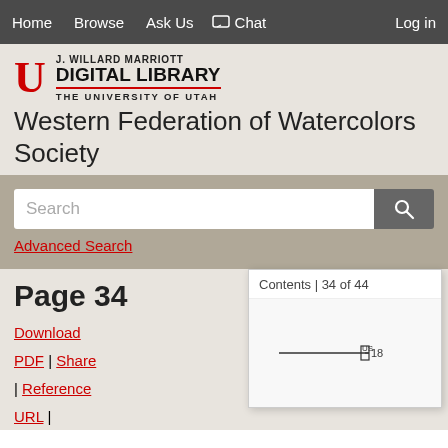Home  Browse  Ask Us  Chat  Log in
[Figure (logo): J. Willard Marriott Digital Library, The University of Utah logo with red block U]
Western Federation of Watercolors Society
Search
Advanced Search
Page 34
Download PDF | Share | Reference URL |
Contents | 34 of 44
[Figure (screenshot): Partial view of document page 34 showing a line with 'US 18' label]